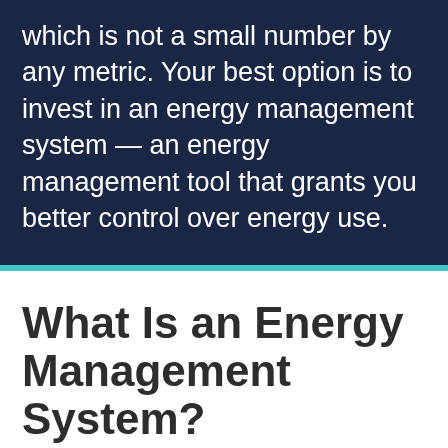which is not a small number by any metric. Your best option is to invest in an energy management system — an energy management tool that grants you better control over energy use.
What Is an Energy Management System?
An energy management system (EMS) is a system